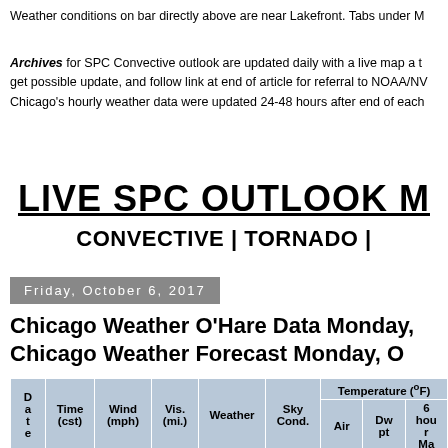Weather conditions on bar directly above are near Lakefront. Tabs under M
Archives for SPC Convective outlook are updated daily with a live map a t... get possible update, and follow link at end of article for referral to NOAA/NW... Chicago's hourly weather data were updated 24-48 hours after end of each...
LIVE SPC OUTLOOK M
CONVECTIVE | TORNADO |
Friday, October 6, 2017
Chicago Weather O'Hare Data Monday... Chicago Weather Forecast Monday, O...
| Date | Time (cst) | Wind (mph) | Vis. (mi.) | Weather | Sky Cond. | Temperature (oF) Air | Temperature (oF) Dw pt | Temperature (oF) 6 hour Ma | Relative Humidity |
| --- | --- | --- | --- | --- | --- | --- | --- | --- | --- |